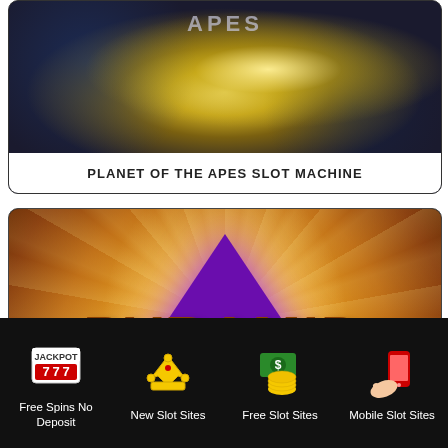[Figure (screenshot): Planet of the Apes slot machine promotional image with starburst light effect on dark blue background]
PLANET OF THE APES SLOT MACHINE
[Figure (screenshot): Pyramid: Quest for Immortality slot machine promotional image with orange/gold background and purple pyramid shape with golden text logo]
Free Spins No Deposit | New Slot Sites | Free Slot Sites | Mobile Slot Sites